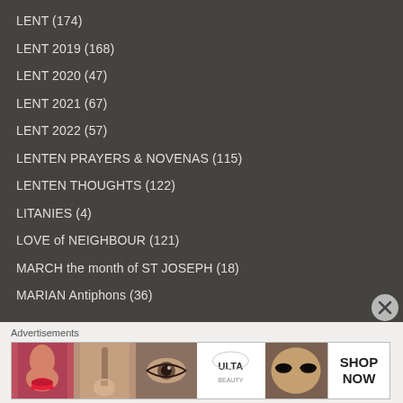LENT (174)
LENT 2019 (168)
LENT 2020 (47)
LENT 2021 (67)
LENT 2022 (57)
LENTEN PRAYERS & NOVENAS (115)
LENTEN THOUGHTS (122)
LITANIES (4)
LOVE of NEIGHBOUR (121)
MARCH the month of ST JOSEPH (18)
MARIAN Antiphons (36)
Advertisements
[Figure (advertisement): Ulta Beauty advertisement banner with makeup imagery and SHOP NOW call to action]